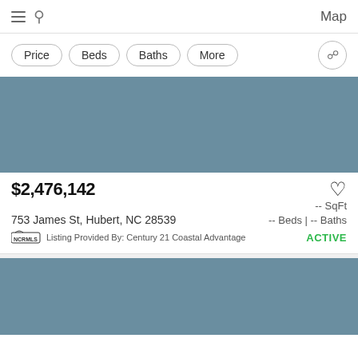Map
Price | Beds | Baths | More
[Figure (photo): Property listing photo placeholder — muted blue-gray color block]
$2,476,142
-- SqFt
753 James St, Hubert, NC 28539
-- Beds | -- Baths
Listing Provided By: Century 21 Coastal Advantage
ACTIVE
[Figure (photo): Second property listing photo placeholder — muted blue-gray color block]